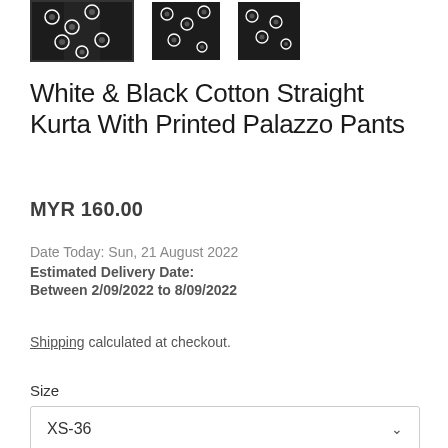[Figure (photo): Three thumbnail images of a White & Black Cotton Straight Kurta With Printed Palazzo Pants. The first thumbnail has a selection border, showing the garment with a black-and-white floral/geometric print.]
White & Black Cotton Straight Kurta With Printed Palazzo Pants
MYR 160.00
Date Today: Sun, 21 August 2022
Estimated Delivery Date:
Between 2/09/2022 to 8/09/2022
Shipping calculated at checkout.
Size
XS-36